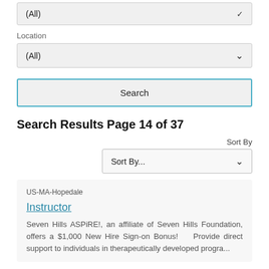(All)
Location
(All)
Search
Search Results Page 14 of 37
Sort By
Sort By...
US-MA-Hopedale
Instructor
Seven Hills ASPiRE!, an affiliate of Seven Hills Foundation, offers a $1,000 New Hire Sign-on Bonus!    Provide direct support to individuals in therapeutically developed progra...